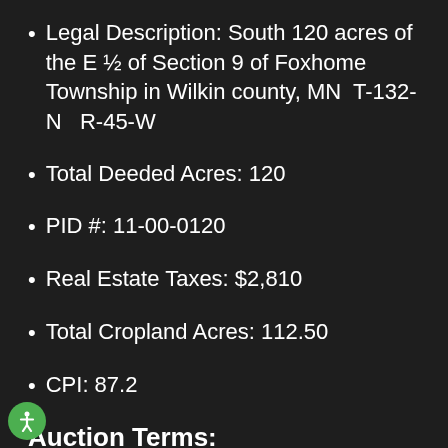Legal Description: South 120 acres of the E ½ of Section 9 of Foxhome Township in Wilkin county, MN  T-132-N   R-45-W
Total Deeded Acres: 120
PID #: 11-00-0120
Real Estate Taxes: $2,810
Total Cropland Acres: 112.50
CPI: 87.2
Auction Terms:
$25,000 Down the day of the sale. Balance